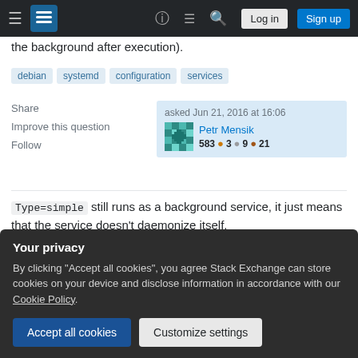Stack Exchange navigation bar with hamburger menu, logo, help, chat, search icons, Log in and Sign up buttons
the background after execution).
debian
systemd
configuration
services
Share   Improve this question   Follow
asked Jun 21, 2016 at 16:06
Petr Mensik
583 ● 3 ● 9 ● 21
Type=simple still runs as a background service, it just means that the service doesn't daemonize itself.
Your privacy
By clicking "Accept all cookies", you agree Stack Exchange can store cookies on your device and disclose information in accordance with our Cookie Policy.
Accept all cookies   Customize settings
systemctl start would never return because it